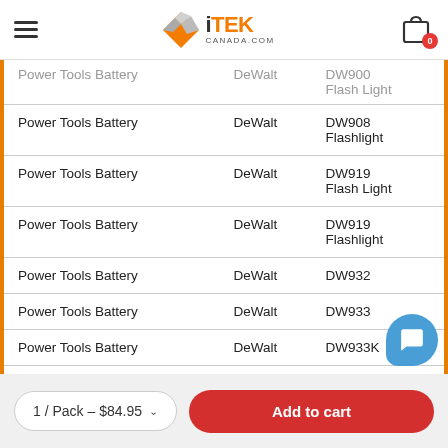iTEK CANADA.COM
| Category | Brand | Model |
| --- | --- | --- |
| Power Tools Battery | DeWalt | DW900 Flash Light |
| Power Tools Battery | DeWalt | DW908 Flashlight |
| Power Tools Battery | DeWalt | DW919 Flash Light |
| Power Tools Battery | DeWalt | DW919 Flashlight |
| Power Tools Battery | DeWalt | DW932 |
| Power Tools Battery | DeWalt | DW933 |
| Power Tools Battery | DeWalt | DW933K |
| Power Tools Battery | DeWalt | DW934 |
| Power Tools Battery | DeWalt | DW9... |
| Power Tools Battery | DeWalt | DW... |
1 / Pack – $84.95   Add to cart